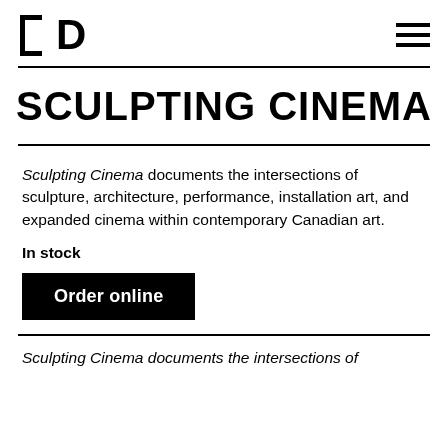PD
SCULPTING CINEMA
Sculpting Cinema documents the intersections of sculpture, architecture, performance, installation art, and expanded cinema within contemporary Canadian art.
In stock
Order online
Sculpting Cinema documents the intersections of